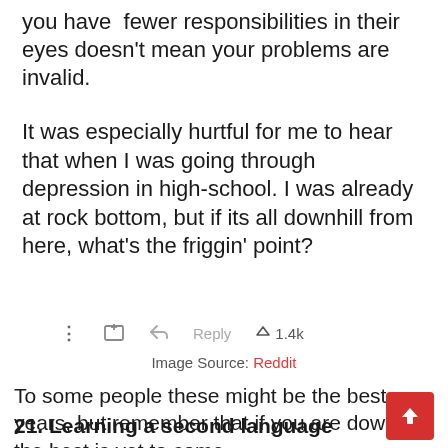you have fewer responsibilities in their eyes doesn't mean your problems are invalid.
[Figure (screenshot): Reddit comment screenshot showing text about depression in high-school, with action bar icons (dots, calendar, reply arrow, Reply text, upvote arrow, 1.4k) and Image Source: Reddit caption]
To some people these might be the best years, but remember that if you are downhill, the best is yet to come.
21. Learning a second language